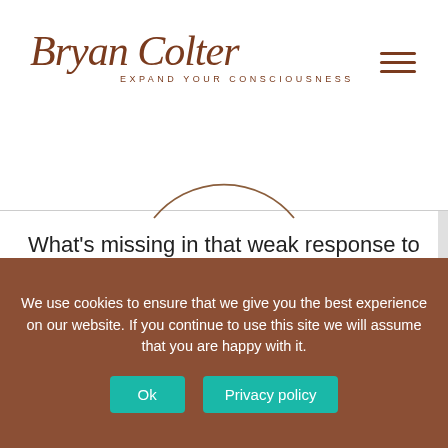Bryan Colter — EXPAND YOUR CONSCIOUSNESS
[Figure (illustration): Partial circle arc in brown/copper color, partially visible at top of content area]
What's missing in that weak response to Aquarius? Heart. Enter Leo, the Kings of the Beasts. Calling us to roar like the lion, heart opened, receptive to applause and acceptance. Imagine you bravely creep out on stage at the local open mic night in your city to share a new poem you've written. What a moment. Feel the
We use cookies to ensure that we give you the best experience on our website. If you continue to use this site we will assume that you are happy with it.